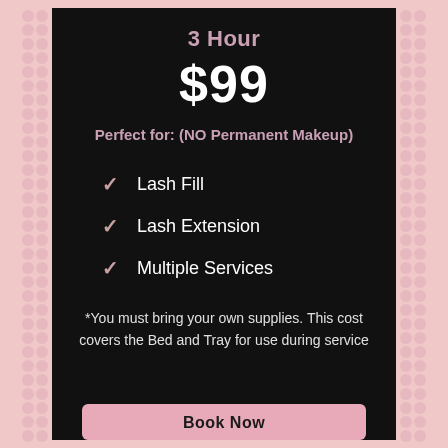3 Hour
$99
Perfect for: (NO Permanent Makeup)
Lash Fill
Lash Extension
Multiple Services
*You must bring your own supplies. This cost covers the Bed and Tray for use during service